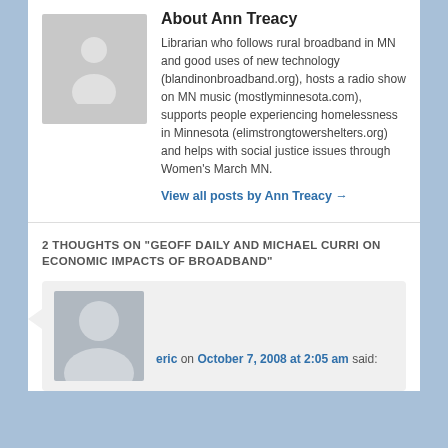[Figure (illustration): Generic user avatar placeholder image for Ann Treacy - grey silhouette of a person]
About Ann Treacy
Librarian who follows rural broadband in MN and good uses of new technology (blandinonbroadband.org), hosts a radio show on MN music (mostlyminnesota.com), supports people experiencing homelessness in Minnesota (elimstrongtowershelters.org) and helps with social justice issues through Women's March MN.
View all posts by Ann Treacy →
2 THOUGHTS ON "GEOFF DAILY AND MICHAEL CURRI ON ECONOMIC IMPACTS OF BROADBAND"
[Figure (illustration): Generic user avatar placeholder image for commenter eric - grey silhouette of a person]
eric on October 7, 2008 at 2:05 am said: